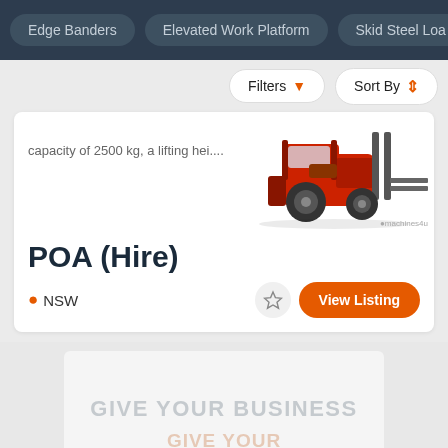Edge Banders | Elevated Work Platform | Skid Steel Loa...
Filters | Sort By
capacity of 2500 kg, a lifting hei....
[Figure (photo): Red forklift vehicle photographed from the rear side angle on white background, with machines4u watermark]
POA (Hire)
NSW
View Listing
GIVE YOUR BUSINESS